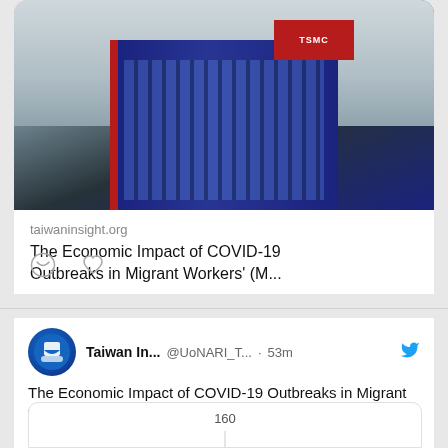[Figure (photo): Photo of a tall corporate building (TSMC or similar) with a dark glass facade and red accent stripe, set against a partly cloudy sky. A red sign is visible near the top.]
taiwaninsight.org
The Economic Impact of COVID-19 Outbreaks in Migrant Workers' (M...
[Figure (other): Comment and heart/like icons from a social media post]
Taiwan In...  @UoNARI_T...  · 53m
The Economic Impact of COVID-19 Outbreaks in Migrant Workers' (MW) Dormitories in Singapore and Taiwan. Written by Jackson Teh
taiwaninsight.org/2022/08/22/the…
[Figure (other): Partial preview of a chart with y-axis label showing 160]